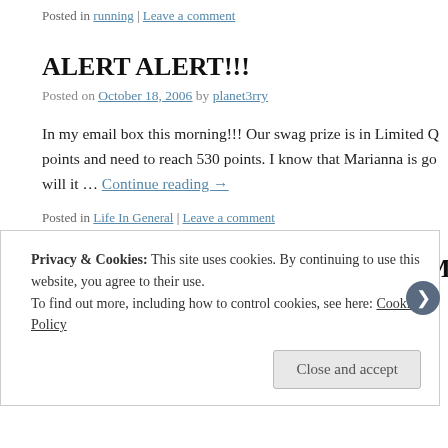Posted in running | Leave a comment
ALERT ALERT!!!
Posted on October 18, 2006 by planet3rry
In my email box this morning!!! Our swag prize is in Limited Q… points and need to reach 530 points. I know that Marianna is go… will it … Continue reading →
Posted in Life In General | Leave a comment
Phedippidations World Wide Half Marath…
Privacy & Cookies: This site uses cookies. By continuing to use this website, you agree to their use.
To find out more, including how to control cookies, see here: Cookie Policy
Close and accept